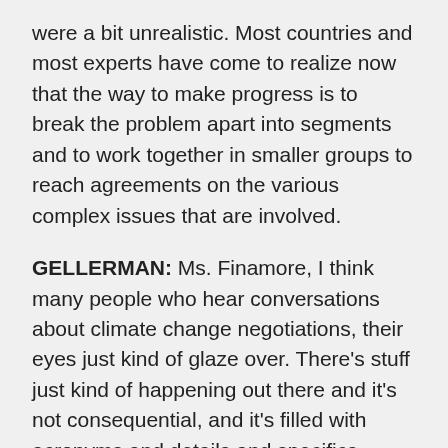were a bit unrealistic. Most countries and most experts have come to realize now that the way to make progress is to break the problem apart into segments and to work together in smaller groups to reach agreements on the various complex issues that are involved.
GELLERMAN: Ms. Finamore, I think many people who hear conversations about climate change negotiations, their eyes just kind of glaze over. There's stuff just kind of happening out there and it's not consequential, and it's filled with acronyms and details and specifics.
FINAMORE: (Laughs). That may be true. I think that for people like that it's interesting for them to realize that it's not an abstract concept. I think it's also important for people to realize that the whole clean energy market, which some estimates have shown will be a thirteen trillion dollar market, it's the greatest, it'll grow in